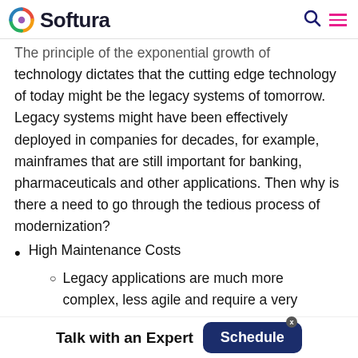Softura
The principle of the exponential growth of technology dictates that the cutting edge technology of today might be the legacy systems of tomorrow. Legacy systems might have been effectively deployed in companies for decades, for example, mainframes that are still important for banking, pharmaceuticals and other applications. Then why is there a need to go through the tedious process of modernization?
High Maintenance Costs
Legacy applications are much more complex, less agile and require a very
Talk with an Expert  Schedule